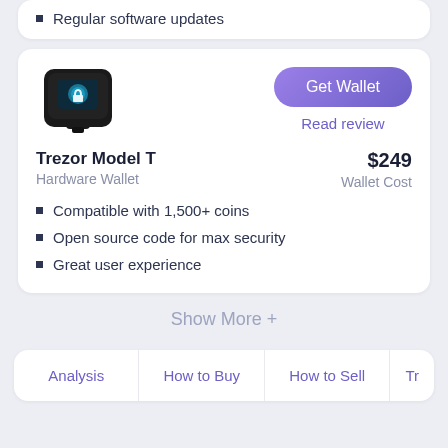Regular software updates
[Figure (photo): Trezor Model T hardware wallet device image]
Get Wallet
Read review
Trezor Model T
Hardware Wallet
$249
Wallet Cost
Compatible with 1,500+ coins
Open source code for max security
Great user experience
Show More +
Analysis
How to Buy
How to Sell
Tr